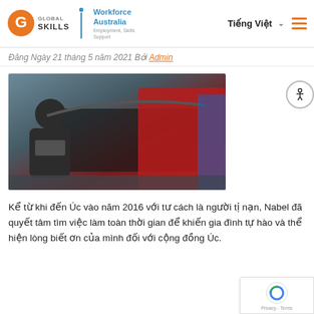Global Skills | Workforce Australia | Tiếng Việt
Đăng Ngày 21 tháng 5 năm 2021 Bởi Admin
[Figure (photo): A man in a black t-shirt standing next to a red car with its hood open, in a workshop or garage setting.]
Kể từ khi đến Úc vào năm 2016 với tư cách là người tị nạn, Nabel đã quyết tâm tìm việc làm toàn thời gian để khiến gia đình tự hào và thể hiện lòng biết ơn của mình đối với cộng đồng Úc.